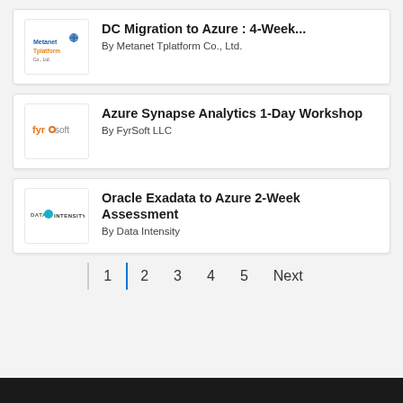DC Migration to Azure : 4-Week...
By Metanet Tplatform Co., Ltd.
Azure Synapse Analytics 1-Day Workshop
By FyrSoft LLC
Oracle Exadata to Azure 2-Week Assessment
By Data Intensity
1 2 3 4 5 Next